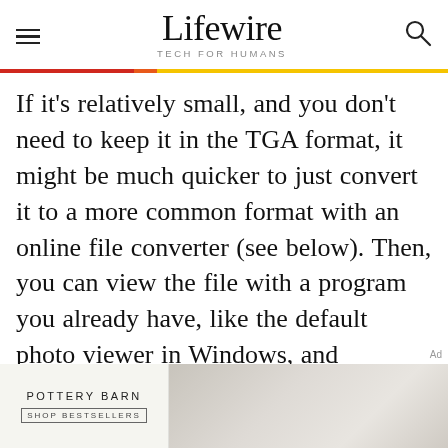Lifewire — TECH FOR HUMANS
If it's relatively small, and you don't need to keep it in the TGA format, it might be much quicker to just convert it to a more common format with an online file converter (see below). Then, you can view the file with a program you already have, like the default photo viewer in Windows, and guarantee that anyone who receives it from you will have no trouble opening it themselves.
Ad
[Figure (photo): Pottery Barn advertisement showing a living room sofa and the text POTTERY BARN SHOP BESTSELLERS]